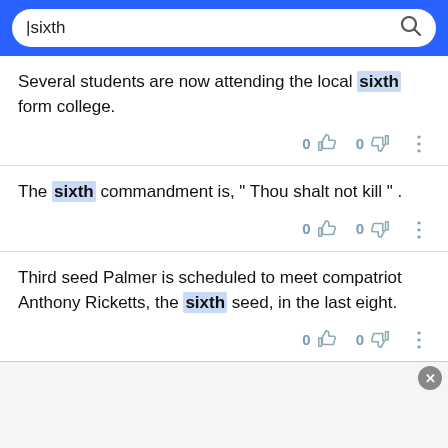sixth [search query]
Several students are now attending the local sixth form college.
The sixth commandment is, " Thou shalt not kill " .
Third seed Palmer is scheduled to meet compatriot Anthony Ricketts, the sixth seed, in the last eight.
Music Scholars normally perform a complete [truncated]